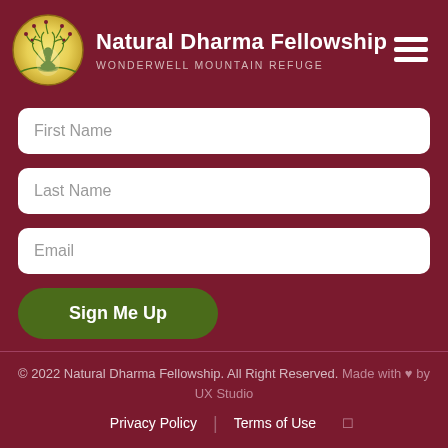[Figure (logo): Natural Dharma Fellowship logo: circular emblem with a meditating figure in lotus position surrounded by a decorative tree with golden leaves on a cream/gold background with green vine border]
Natural Dharma Fellowship
WONDERWELL MOUNTAIN REFUGE
[Figure (other): Hamburger menu icon: three horizontal white lines]
First Name
Last Name
Email
Sign Me Up
© 2022 Natural Dharma Fellowship. All Right Reserved. Made with ♥ by UX Studio
Privacy Policy | Terms of Use